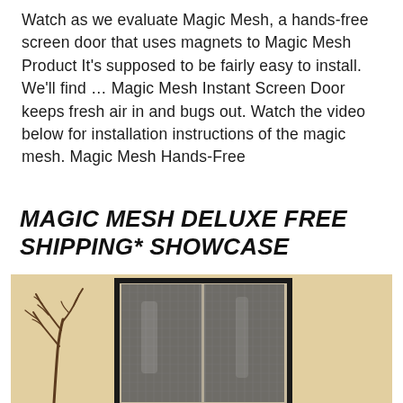Watch as we evaluate Magic Mesh, a hands-free screen door that uses magnets to Magic Mesh Product It's supposed to be fairly easy to install. We'll find … Magic Mesh Instant Screen Door keeps fresh air in and bugs out. Watch the video below for installation instructions of the magic mesh. Magic Mesh Hands-Free
MAGIC MESH DELUXE FREE SHIPPING* SHOWCASE
[Figure (photo): Photo of a Magic Mesh hands-free magnetic screen door installed in a doorway. The mesh screen is dark/charcoal colored with a black border frame. The background wall is a warm beige/tan color. A decorative branch/twig wall art piece is visible on the left side of the image.]